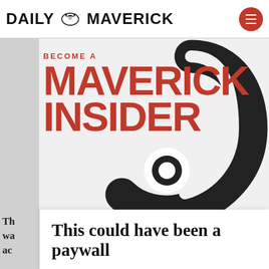DAILY MAVERICK
[Figure (logo): Daily Maverick logo with bird icon and hamburger menu button (red circle with white lines) on the right]
[Figure (illustration): Maverick Insider promotional banner. Text reads 'BECOME A' in small red caps, then 'MAVERICK INSIDER' in large bold red text. Background has a large black and white spiral/question mark graphic on the right side.]
This could have been a paywall
On another site this would have been a paywall. Maverick Insider keeps our content free for all.
Become an Insider
Already an Insider? Click here to log in.